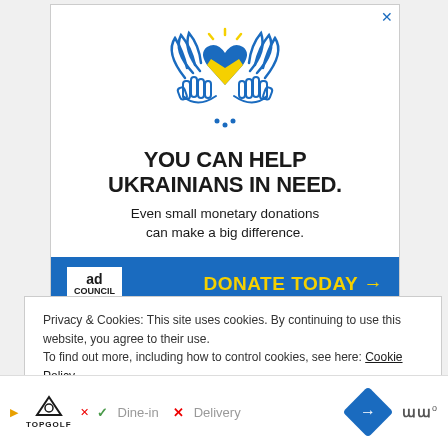[Figure (illustration): Ad banner: Ukraine-themed illustration of two hands cupping a blue and yellow heart with wings and yellow sparkles, above text 'YOU CAN HELP UKRAINIANS IN NEED.' and subtext 'Even small monetary donations can make a big difference.' with a blue footer containing Ad Council logo and 'DONATE TODAY →' in yellow.]
Privacy & Cookies: This site uses cookies. By continuing to use this website, you agree to their use.
To find out more, including how to control cookies, see here: Cookie Policy
Close and accept
[Figure (illustration): Bottom navigation bar with Topgolf logo, dine-in checkmark, delivery X mark, navigation diamond icon, and wave signal icon.]